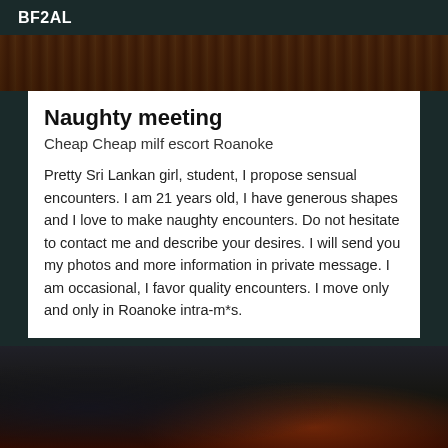BF2AL
[Figure (photo): Top portion of a decorative image, partially cropped, showing dark reddish-brown tones with ornamental patterns]
Naughty meeting
Cheap Cheap milf escort Roanoke
Pretty Sri Lankan girl, student, I propose sensual encounters. I am 21 years old, I have generous shapes and I love to make naughty encounters. Do not hesitate to contact me and describe your desires. I will send you my photos and more information in private message. I am occasional, I favor quality encounters. I move only and only in Roanoke intra-m*s.
[Figure (photo): Bottom image showing dark objects on a surface, partially visible, with dark and orange tones]